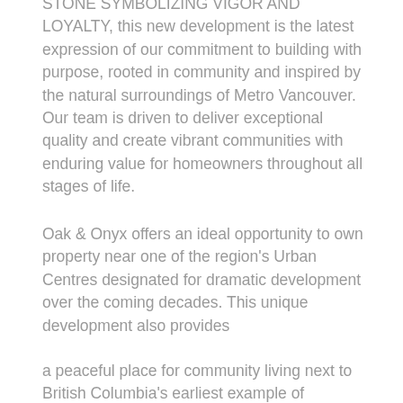STONE SYMBOLIZING VIGOR AND LOYALTY, this new development is the latest expression of our commitment to building with purpose, rooted in community and inspired by the natural surroundings of Metro Vancouver. Our team is driven to deliver exceptional quality and create vibrant communities with enduring value for homeowners throughout all stages of life.
Oak & Onyx offers an ideal opportunity to own property near one of the region's Urban Centres designated for dramatic development over the coming decades. This unique development also provides
a peaceful place for community living next to British Columbia's earliest example of